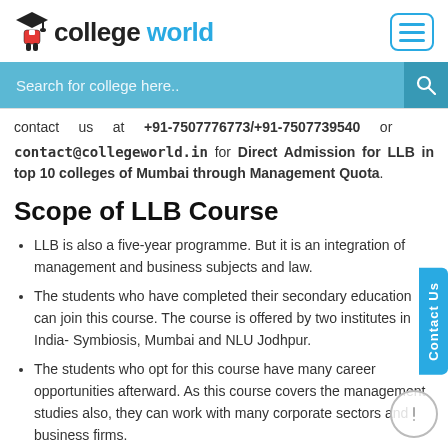[Figure (logo): College World logo with graduation cap icon, 'college' in dark text and 'world' in blue text]
Search for college here..
contact us at +91-7507776773/+91-7507739540 or contact@collegeworld.in for Direct Admission for LLB in top 10 colleges of Mumbai through Management Quota.
Scope of LLB Course
LLB is also a five-year programme. But it is an integration of management and business subjects and law.
The students who have completed their secondary education can join this course. The course is offered by two institutes in India- Symbiosis, Mumbai and NLU Jodhpur.
The students who opt for this course have many career opportunities afterward. As this course covers the management studies also, they can work with many corporate sectors and business firms.